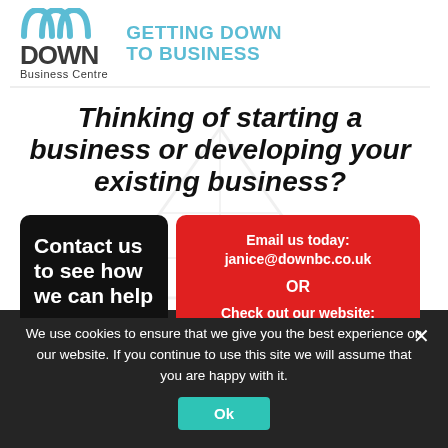[Figure (logo): Down Business Centre logo with teal arc icon, bold 'DOWN' text and 'Business Centre' subtitle. Tagline: 'GETTING DOWN TO BUSINESS']
Thinking of starting a business or developing your existing business?
Contact us to see how we can help
Email us today: janice@downbc.co.uk OR Check out our website: www.downbc.co.uk
We use cookies to ensure that we give you the best experience on our website. If you continue to use this site we will assume that you are happy with it.